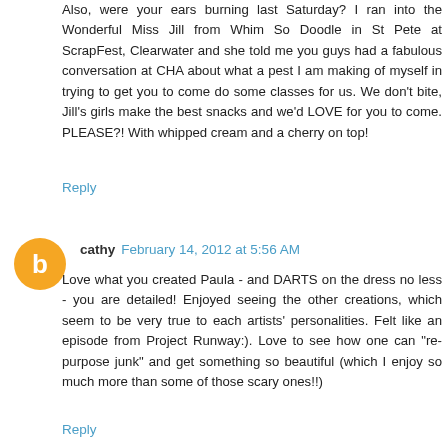Also, were your ears burning last Saturday? I ran into the Wonderful Miss Jill from Whim So Doodle in St Pete at ScrapFest, Clearwater and she told me you guys had a fabulous conversation at CHA about what a pest I am making of myself in trying to get you to come do some classes for us. We don't bite, Jill's girls make the best snacks and we'd LOVE for you to come. PLEASE?! With whipped cream and a cherry on top!
Reply
cathy  February 14, 2012 at 5:56 AM
Love what you created Paula - and DARTS on the dress no less - you are detailed! Enjoyed seeing the other creations, which seem to be very true to each artists' personalities. Felt like an episode from Project Runway:). Love to see how one can "re-purpose junk" and get something so beautiful (which I enjoy so much more than some of those scary ones!!)
Reply